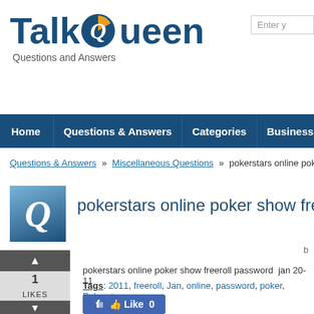[Figure (logo): TalkQueen logo with pie chart icon in the Q letter, subtitle 'Questions and Answers']
Home | Questions & Answers | Categories | Business
Questions & Answers » Miscellaneous Questions » pokerstars online poker show fr…
pokerstars online poker show freeroll pa…
pokerstars online poker show freeroll password  jan 20-11
Tags: 2011, freeroll, Jan, online, password, poker, Pokerstars
[Figure (other): Facebook Like button showing Like 0]